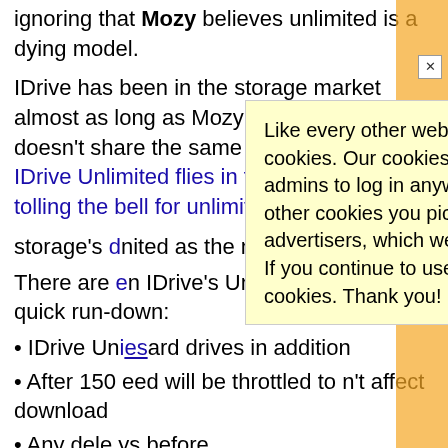ignoring that Mozy believes unlimited is a dying model.
IDrive has been in the storage market almost as long as Mozy has, but evidently doesn't share the same opinions as Mozy. IDrive Unlimited flies in the face of Mozy tolling the bell for unlimited storage's [unlimited as the name] Cloud
There are [en IDrive's Unlimited] up to a quick run-down:
IDrive Unlimited [hard drives in addition]
After 150 [eed will be throttled to] n't affect download
Any dele [ys before]
Like every other website on the planet, SmallNetBuilder uses cookies. Our cookies track login status, but we only allow admins to log in anyway, so those don't apply to you. Any other cookies you pick up during your visit come from advertisers, which we don't control.
If you continue to use the site, you agree to tolerate our use of cookies. Thank you!